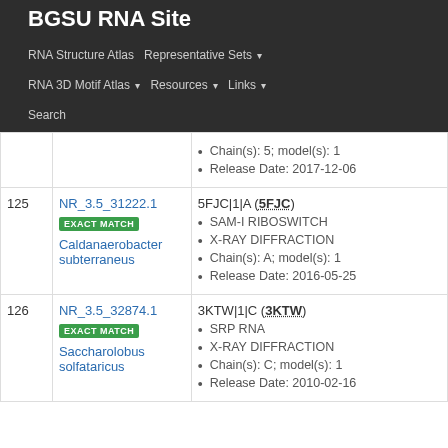BGSU RNA Site
RNA Structure Atlas | Representative Sets ▾ | RNA 3D Motif Atlas ▾ | Resources ▾ | Links ▾ | Search
| # | ID | Info |
| --- | --- | --- |
|  |  | Chain(s): 5; model(s): 1
Release Date: 2017-12-06 |
| 125 | NR_3.5_31222.1 EXACT MATCH Caldanaerobacter subterraneus | 5FJC|1|A (5FJC) SAM-I RIBOSWITCH X-RAY DIFFRACTION Chain(s): A; model(s): 1 Release Date: 2016-05-25 |
| 126 | NR_3.5_32874.1 EXACT MATCH Saccharolobus solfataricus | 3KTW|1|C (3KTW) SRP RNA X-RAY DIFFRACTION Chain(s): C; model(s): 1 Release Date: 2010-02-16 |